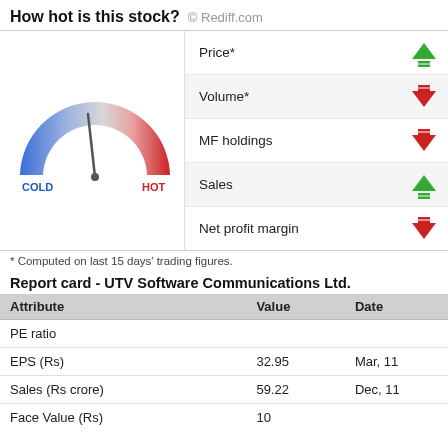How hot is this stock?  © Rediff.com
[Figure (infographic): Semicircular gauge/thermometer showing stock temperature. Left side labeled COLD in blue, right side labeled HOT in red. Needle points slightly left of center (toward cold). Five indicator rows to the right: Price* (green up arrow), Volume* (red down arrow), MF holdings (red down arrow), Sales (green up arrow), Net profit margin (red down arrow).]
* Computed on last 15 days' trading figures.
Report card - UTV Software Communications Ltd.
| Attribute | Value | Date |
| --- | --- | --- |
| PE ratio |  |  |
| EPS (Rs) | 32.95 | Mar, 11 |
| Sales (Rs crore) | 59.22 | Dec, 11 |
| Face Value (Rs) | 10 |  |